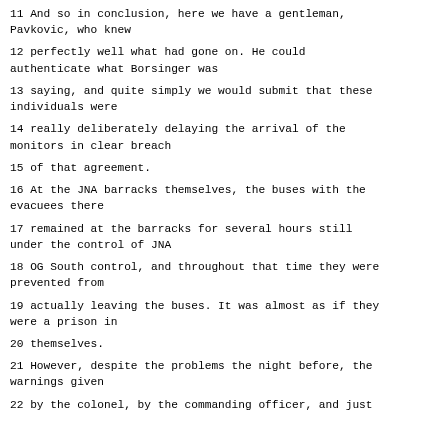11 And so in conclusion, here we have a gentleman, Pavkovic, who knew
12 perfectly well what had gone on. He could authenticate what Borsinger was
13 saying, and quite simply we would submit that these individuals were
14 really deliberately delaying the arrival of the monitors in clear breach
15 of that agreement.
16 At the JNA barracks themselves, the buses with the evacuees there
17 remained at the barracks for several hours still under the control of JNA
18 OG South control, and throughout that time they were prevented from
19 actually leaving the buses. It was almost as if they were a prison in
20 themselves.
21 However, despite the problems the night before, the warnings given
22 by the colonel, by the commanding officer, and just